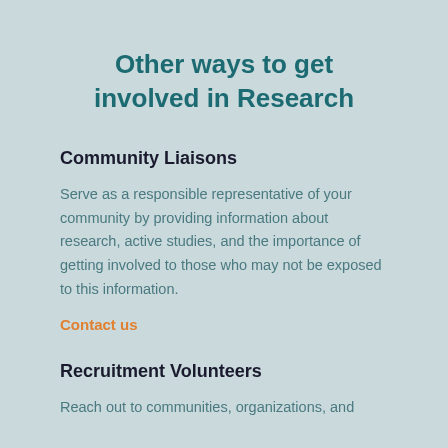Other ways to get involved in Research
Community Liaisons
Serve as a responsible representative of your community by providing information about research, active studies, and the importance of getting involved to those who may not be exposed to this information.
Contact us
Recruitment Volunteers
Reach out to communities, organizations, and